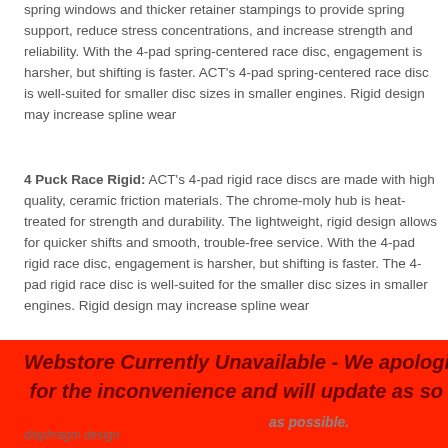spring windows and thicker retainer stampings to provide spring support, reduce stress concentrations, and increase strength and reliability. With the 4-pad spring-centered race disc, engagement is harsher, but shifting is faster. ACT's 4-pad spring-centered race disc is well-suited for smaller disc sizes in smaller engines. Rigid design may increase spline wear
4 Puck Race Rigid: ACT's 4-pad rigid race discs are made with high quality, ceramic friction materials. The chrome-moly hub is heat-treated for strength and durability. The lightweight, rigid design allows for quicker shifts and smooth, trouble-free service. With the 4-pad rigid race disc, engagement is harsher, but shifting is faster. The 4-pad rigid race disc is well-suited for the smaller disc sizes in smaller engines. Rigid design may increase spline wear
Webstore Currently Unavailable - We apologize for the inconvenience and will update as soon as possible.
diaphragm design